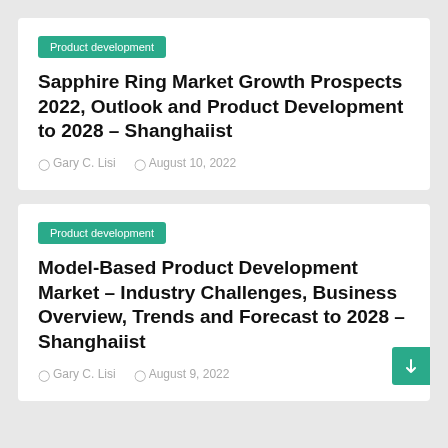Product development
Sapphire Ring Market Growth Prospects 2022, Outlook and Product Development to 2028 – Shanghaiist
Gary C. Lisi  August 10, 2022
Product development
Model-Based Product Development Market – Industry Challenges, Business Overview, Trends and Forecast to 2028 – Shanghaiist
Gary C. Lisi  August 9, 2022